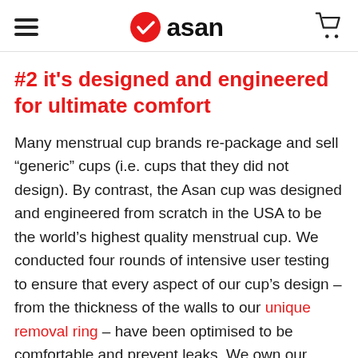asan
#2 it's designed and engineered for ultimate comfort
Many menstrual cup brands re-package and sell “generic” cups (i.e. cups that they did not design). By contrast, the Asan cup was designed and engineered from scratch in the USA to be the world’s highest quality menstrual cup. We conducted four rounds of intensive user testing to ensure that every aspect of our cup’s design – from the thickness of the walls to our unique removal ring – have been optimised to be comfortable and prevent leaks. We own our unique design,